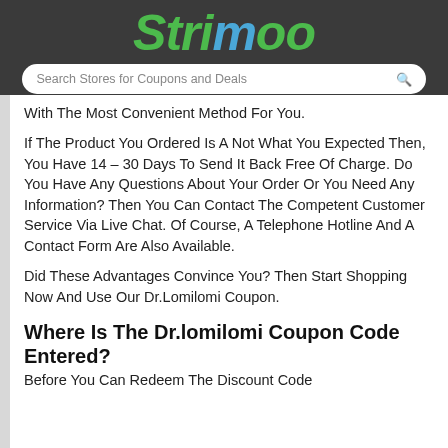Strimoo
Search Stores for Coupons and Deals
With The Most Convenient Method For You.
If The Product You Ordered Is A Not What You Expected Then, You Have 14 – 30 Days To Send It Back Free Of Charge. Do You Have Any Questions About Your Order Or You Need Any Information? Then You Can Contact The Competent Customer Service Via Live Chat. Of Course, A Telephone Hotline And A Contact Form Are Also Available.
Did These Advantages Convince You? Then Start Shopping Now And Use Our Dr.Lomilomi Coupon.
Where Is The Dr.lomilomi Coupon Code Entered?
Before You Can Redeem The Discount Code